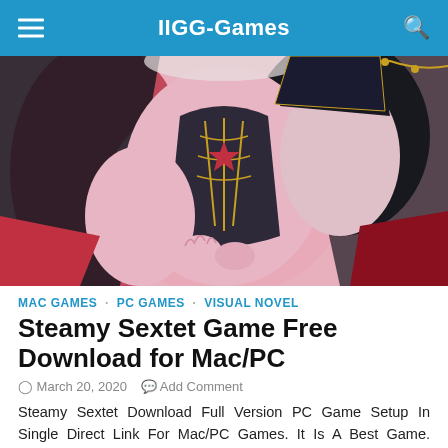IIGG-Games
[Figure (illustration): Anime-style illustration showing two characters in dark fantasy costumes with pink skin tones, red and black armor/clothing with gold accents]
MAC GAMES · PC GAMES · VISUAL NOVEL
Steamy Sextet Game Free Download for Mac/PC
March 20, 2020   Add Comment
Steamy Sextet Download Full Version PC Game Setup In Single Direct Link For Mac/PC Games. It Is A Best Game. Download Steamy Sextet Adult